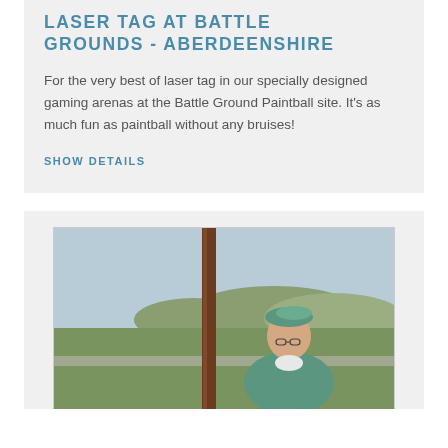LASER TAG AT BATTLE GROUNDS - ABERDEENSHIRE
For the very best of laser tag in our specially designed gaming arenas at the Battle Ground Paintball site. It's as much fun as paintball without any bruises!
SHOW DETAILS
[Figure (photo): Photograph of a person wearing a teal/green beret and sweater, leaning against a wooden post, with a rural countryside landscape with hills and green fields in the background.]